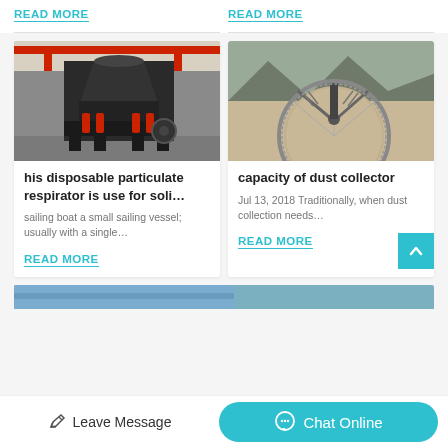READ MORE
READ MORE
[Figure (photo): Large industrial cone crusher machine in a factory warehouse with red overhead cranes]
his disposable particulate respirator is use for soli…
sailing boat a small sailing vessel; usually with a single…
READ MORE
[Figure (photo): Aerial view of a large circular industrial facility with conveyor structures and mountains in background]
capacity of dust collector
Jul 13, 2018 Traditionally, when dust collection needs…
READ MORE
Leave Message
Chat Online